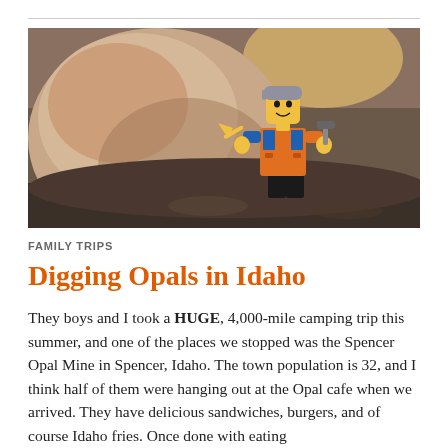[Figure (photo): A LEGO minifigure dressed in an orange construction vest holding tools, standing on rocks outdoors in sunlight near a large boulder.]
FAMILY TRIPS
Digging Opals in Idaho
They boys and I took a HUGE, 4,000-mile camping trip this summer, and one of the places we stopped was the Spencer Opal Mine in Spencer, Idaho. The town population is 32, and I think half of them were hanging out at the Opal cafe when we arrived. They have delicious sandwiches, burgers, and of course Idaho fries. Once done with eating